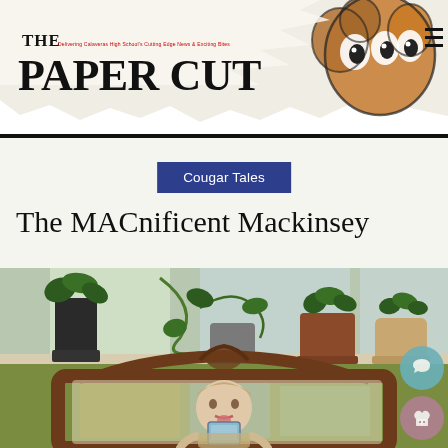THE PAPER CUT — Delivering Calaveras High School's Cutting-Edge News & Exciting Bites
Cougar Tales
The MACnificent Mackinsey
[Figure (photo): Mirror selfie of a young person sticking out their tongue and taking a photo with a light blue phone. Behind them is a map on the wall. In front of and above the mirror are several potted plants on a windowsill, including trailing vines and various houseplants in pots of different sizes and colors against green walls.]